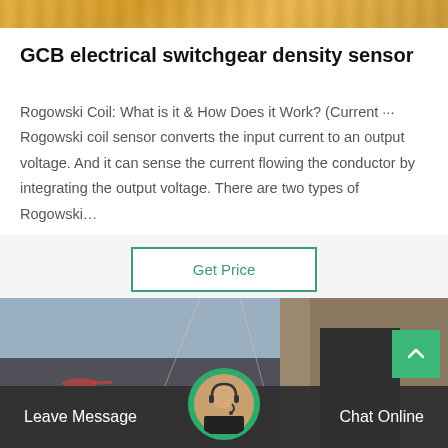[Figure (photo): Top strip showing yellow/orange industrial equipment]
GCB electrical switchgear density sensor
Rogowski Coil: What is it & How Does it Work? (Current ...· Rogowski coil sensor converts the input current to an output voltage. And it can sense the current flowing the conductor by integrating the output voltage. There are two types of Rogowski…
[Figure (other): Get Price button with teal border]
[Figure (photo): Bottom image showing industrial tower/structure with helicopter in background]
[Figure (other): Chat bar at bottom with Leave Message and Chat Online buttons and agent avatar]